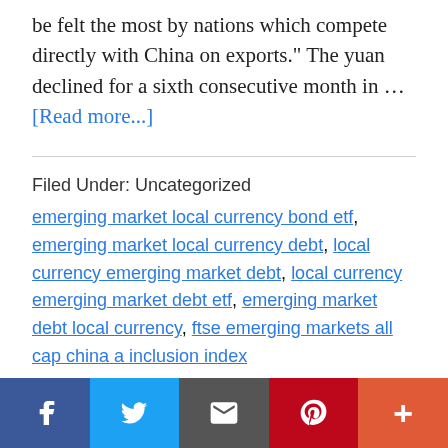be felt the most by nations which compete directly with China on exports." The yuan declined for a sixth consecutive month in … [Read more...]
Filed Under: Uncategorized
emerging market local currency bond etf, emerging market local currency debt, local currency emerging market debt, local currency emerging market debt etf, emerging market debt local currency, ftse emerging markets all cap china a inclusion index
Liz Truss inherits UK economy
[Figure (infographic): Social media sharing bar with Facebook, Twitter, Email, Pinterest, and More buttons]